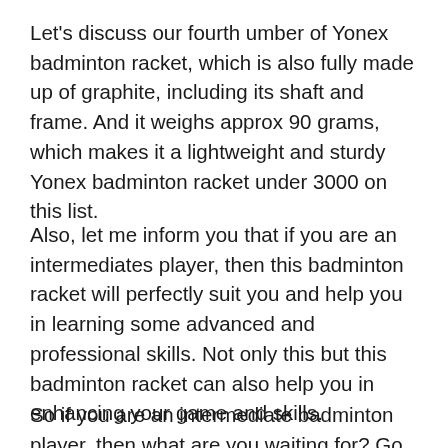Let's discuss our fourth umber of Yonex badminton racket, which is also fully made up of graphite, including its shaft and frame. And it weighs approx 90 grams, which makes it a lightweight and sturdy Yonex badminton racket under 3000 on this list.
Also, let me inform you that if you are an intermediates player, then this badminton racket will perfectly suit you and help you in learning some advanced and professional skills. Not only this but this badminton racket can also help you in enhancing your game and skills.
So if you are an intermediate badminton player, then what are you waiting for? Go